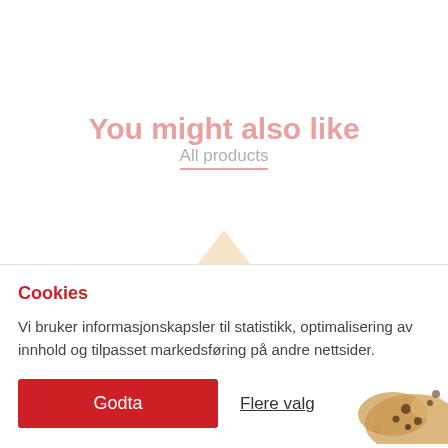You might also like
All products
[Figure (photo): Small triangular piece of chocolate or confection peeking above the divider line]
Cookies
Vi bruker informasjonskapsler til statistikk, optimalisering av innhold og tilpasset markedsføring på andre nettsider.
Godta
Flere valg
[Figure (photo): Cookie/biscuit crumbs and pieces in bottom right corner]